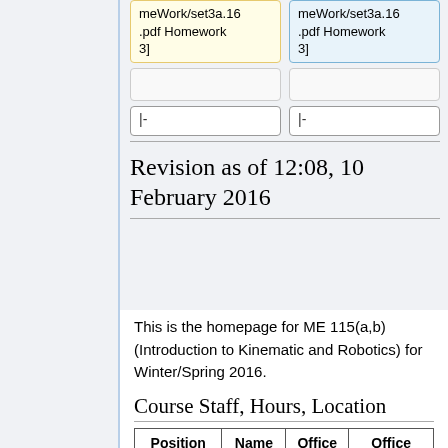meWork/set3a.16.pdf Homework 3]
meWork/set3a.16.pdf Homework 3]
|-
|-
Revision as of 12:08, 10 February 2016
This is the homepage for ME 115(a,b) (Introduction to Kinematic and Robotics) for Winter/Spring 2016.
Course Staff, Hours, Location
| Position | Name | Office | Office Hours (change weekly) |
| --- | --- | --- | --- |
|  |  |  |  |